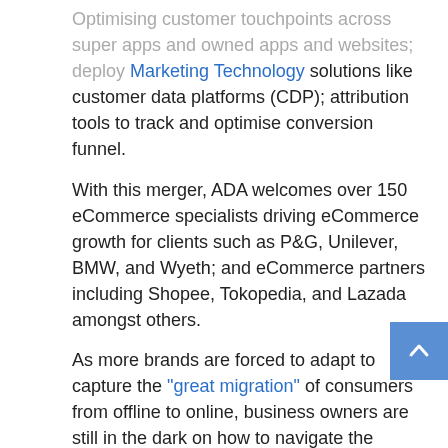Optimising customer touchpoints across super apps and owned apps and websites; deploy Marketing Technology solutions like customer data platforms (CDP); attribution tools to track and optimise conversion funnel.
With this merger, ADA welcomes over 150 eCommerce specialists driving eCommerce growth for clients such as P&G, Unilever, BMW, and Wyeth; and eCommerce partners including Shopee, Tokopedia, and Lazada amongst others.
As more brands are forced to adapt to capture the "great migration" of consumers from offline to online, business owners are still in the dark on how to navigate the challenges to maximise return on investment. This opportunity is expected to surge to USD 100 billion in Southeast Asia, with compound annual growth rate (CAGR) expected to rise by 24.6% (2017 – 2025).
Learn more about ADA's eCommerce solutions here